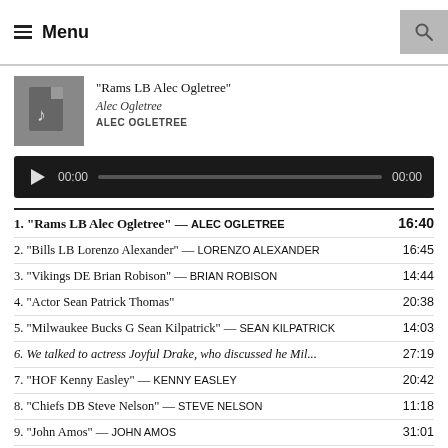Menu
[Figure (other): Podcast thumbnail: gray square with music note icon, showing title 'Rams LB Alec Ogletree', author 'Alec Ogletree', show 'ALEC OGLETREE']
"Rams LB Alec Ogletree" | Alec Ogletree | ALEC OGLETREE
[Figure (other): Audio player bar: dark background, play button, time 00:00, progress bar, end time 00:00]
1. "Rams LB Alec Ogletree" — ALEC OGLETREE  16:40
2. "Bills LB Lorenzo Alexander" — LORENZO ALEXANDER  16:45
3. "Vikings DE Brian Robison" — BRIAN ROBISON  14:44
4. "Actor Sean Patrick Thomas"  20:38
5. "Milwaukee Bucks G Sean Kilpatrick" — SEAN KILPATRICK  14:03
6. We talked to actress Joyful Drake, who discussed he Mil...  27:19
7. "HOF Kenny Easley" — KENNY EASLEY  20:42
8. "Chiefs DB Steve Nelson" — STEVE NELSON  11:18
9. "John Amos" — JOHN AMOS  31:01
10. "Free agent RB Glen Coffee"  20:33
11. "Actor Jon Chaffin"  31:35
12. "Boxer Antonio Tarver"  58:23